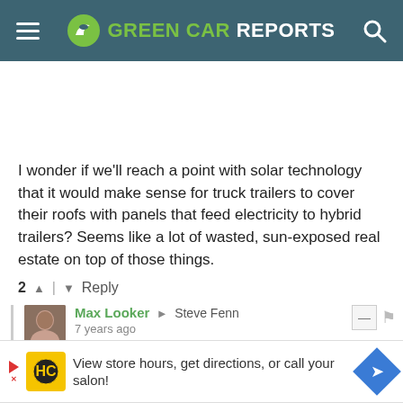Green Car Reports
I wonder if we'll reach a point with solar technology that it would make sense for truck trailers to cover their roofs with panels that feed electricity to hybrid trailers? Seems like a lot of wasted, sun-exposed real estate on top of those things.
2 ^ | v Reply
Max Looker → Steve Fenn
7 years ago
The problem will be that a lot of fleets operate
[Figure (screenshot): Advertisement banner: View store hours, get directions, or call your salon!]